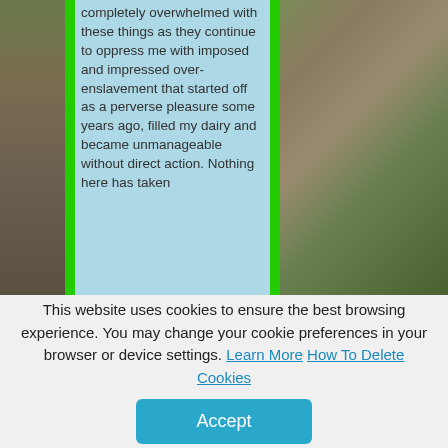[Figure (screenshot): A webpage screenshot showing a blue text box with text about being overwhelmed, flanked by green borders and rocky/nature imagery on left and right. The text reads: 'completely overwhelmed with these things as they continue to oppress me with imposed and impressed over-enslavement that started off as a perverse pleasure some years ago, filled my dairy and became unmanageable without direct action. Nothing here has taken']
This website uses cookies to ensure the best browsing experience. You may change your cookie preferences in your browser or device settings. Learn More How To Delete Cookies
Accept